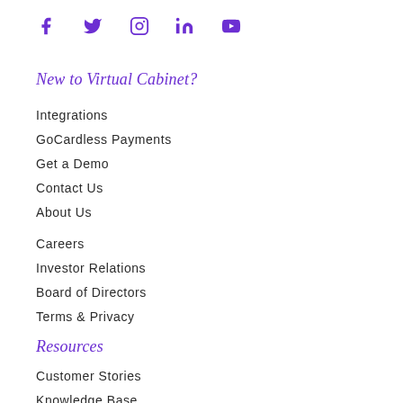[Figure (other): Row of social media icons: Facebook, Twitter, Instagram, LinkedIn, YouTube in purple]
New to Virtual Cabinet?
Integrations
GoCardless Payments
Get a Demo
Contact Us
About Us
Careers
Investor Relations
Board of Directors
Terms & Privacy
Resources
Customer Stories
Knowledge Base
Partner Program